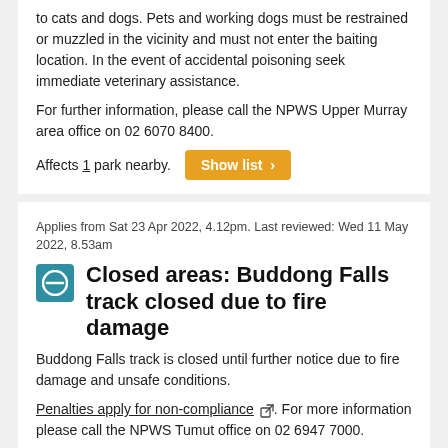to cats and dogs. Pets and working dogs must be restrained or muzzled in the vicinity and must not enter the baiting location. In the event of accidental poisoning seek immediate veterinary assistance.
For further information, please call the NPWS Upper Murray area office on 02 6070 8400.
Affects 1 park nearby.
Applies from Sat 23 Apr 2022, 4.12pm. Last reviewed: Wed 11 May 2022, 8.53am
Closed areas: Buddong Falls track closed due to fire damage
Buddong Falls track is closed until further notice due to fire damage and unsafe conditions.
Penalties apply for non-compliance. For more information please call the NPWS Tumut office on 02 6947 7000.
Affects 1 park and 1 location nearby.
Applies from Mon 7 Mar 2022, 10.06am to Sat 1 Oct 2022, 5.00pm.